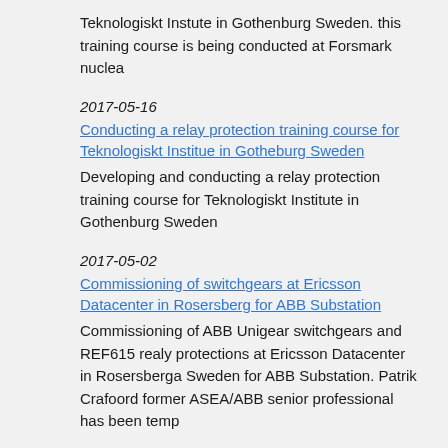Teknologiskt Instute in Gothenburg Sweden. this training course is being conducted at Forsmark nuclea
2017-05-16
Conducting a relay protection training course for Teknologiskt Institue in Gotheburg Sweden
Developing and conducting a relay protection training course for Teknologiskt Institute in Gothenburg Sweden
2017-05-02
Commissioning of switchgears at Ericsson Datacenter in Rosersberg for ABB Substation
Commissioning of ABB Unigear switchgears and REF615 realy protections at Ericsson Datacenter in Rosersberga Sweden for ABB Substation. Patrik Crafoord former ASEA/ABB senior professional has been temp
2017-04-17
Configuration and commissioning of relay prtections at